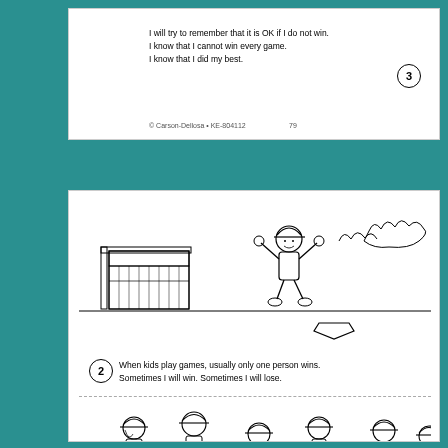I will try to remember that it is OK if I do not win.
I know that I cannot win every game.
I know that I did my best.
© Carson-Dellosa • KE-804112    79
[Figure (illustration): Child in baseball cap jumping in celebration near a baseball dugout and home plate. Trees visible in background.]
When kids play games, usually only one person wins. Sometimes I will win. Sometimes I will lose.
[Figure (illustration): Group of children in baseball caps shaking hands after a game.]